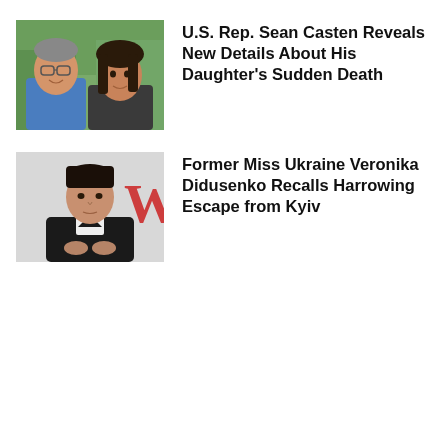[Figure (photo): Photo of U.S. Rep. Sean Casten with his daughter, smiling outdoors with green foliage in the background]
U.S. Rep. Sean Casten Reveals New Details About His Daughter's Sudden Death
[Figure (photo): Photo of former Miss Ukraine Veronika Didusenko in a black blazer, seated in front of a background with a red W logo]
Former Miss Ukraine Veronika Didusenko Recalls Harrowing Escape from Kyiv